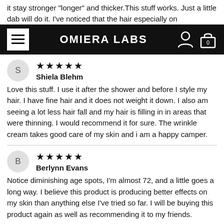it stay stronger "longer" and thicker.This stuff works. Just a little dab will do it. I've noticed that the hair especially on
OMIERA LABS
Shiela Blehm
★★★★★
Love this stuff. I use it after the shower and before I style my hair. I have fine hair and it does not weight it down. I also am seeing a lot less hair fall and my hair is filling in in areas that were thinning. I would recommend it for sure. The wrinkle cream takes good care of my skin and i am a happy camper.
Berlynn Evans
★★★★★
Notice diminishing age spots, I'm almost 72, and a little goes a long way. I believe this product is producing better effects on my skin than anything else I've tried so far. I will be buying this product again as well as recommending it to my friends.